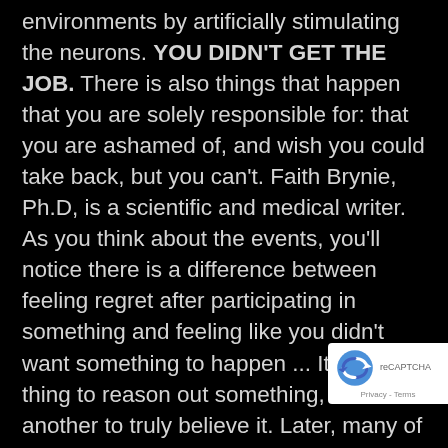environments by artificially stimulating the neurons. YOU DIDN'T GET THE JOB. There is also things that happen that you are solely responsible for: that you are ashamed of, and wish you could take back, but you can't. Faith Brynie, Ph.D, is a scientific and medical writer. As you think about the events, you'll notice there is a difference between feeling regret after participating in something and feeling like you didn't want something to happen ... It's one thing to reason out something, but it's another to truly believe it. Later, many of the volunteers recalled the imagined images as real. Why are so many people drawn to conspiracy theories in times of crisis? Bet it sounds something like: figures." Not a powerful or positive message send yourself. It... He made you feel good
[Figure (logo): reCAPTCHA badge with logo and Privacy - Terms text]